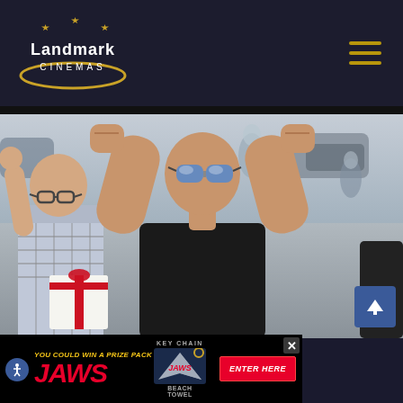[Figure (logo): Landmark Cinemas logo with stars and gold arc]
[Figure (photo): Bald muscular man in sunglasses and black t-shirt flexing both arms raised in fists, with another man in plaid shirt holding a gift box beside him, street scene in background]
[Figure (infographic): JAWS prize pack advertisement banner: 'YOU COULD WIN A PRIZE PACK FROM JAWS' with key chain and beach towel prizes and ENTER HERE button]